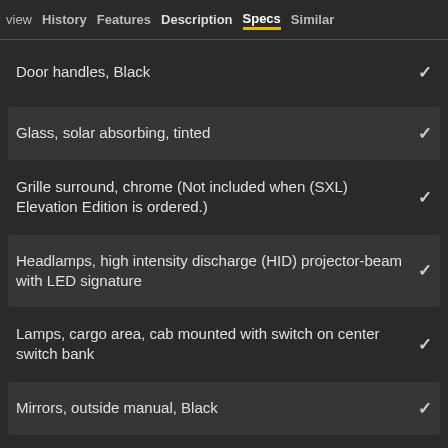view  History  Features  Description  Specs  Similar
Door handles, Black ✓
Glass, solar absorbing, tinted ✓
Grille surround, chrome (Not included when (SXL) Elevation Edition is ordered.) ✓
Headlamps, high intensity discharge (HID) projector-beam with LED signature ✓
Lamps, cargo area, cab mounted with switch on center switch bank ✓
Mirrors, outside manual, Black ✓